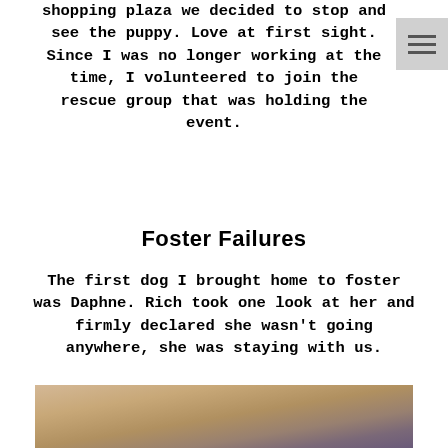shopping plaza we decided to stop and see the puppy. Love at first sight. Since I was no longer working at the time, I volunteered to join the rescue group that was holding the event.
Foster Failures
The first dog I brought home to foster was Daphne. Rich took one look at her and firmly declared she wasn't going anywhere, she was staying with us.
[Figure (photo): Close-up photo of a dog, showing fur in warm brown/tan tones with a purple background element visible.]